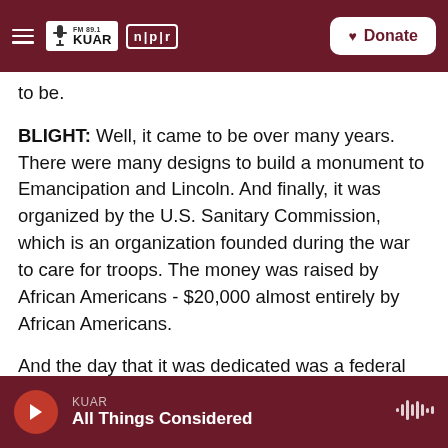FM 89.1 KUAR | NPR | Donate
to be.
BLIGHT: Well, it came to be over many years. There were many designs to build a monument to Emancipation and Lincoln. And finally, it was organized by the U.S. Sanitary Commission, which is an organization founded during the war to care for troops. The money was raised by African Americans - $20,000 almost entirely by African Americans.
And the day that it was dedicated was a federal holiday in the city. The unveiling was preceded by a
KUAR — All Things Considered